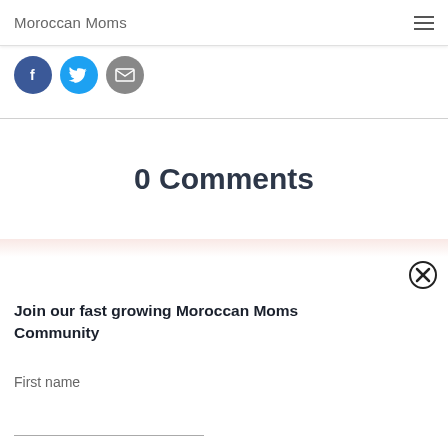Moroccan Moms
[Figure (illustration): Three social share buttons: Facebook (dark blue circle with f), Twitter (light blue circle with bird), Email (grey circle with envelope icon)]
0 Comments
Join our fast growing Moroccan Moms Community
First name